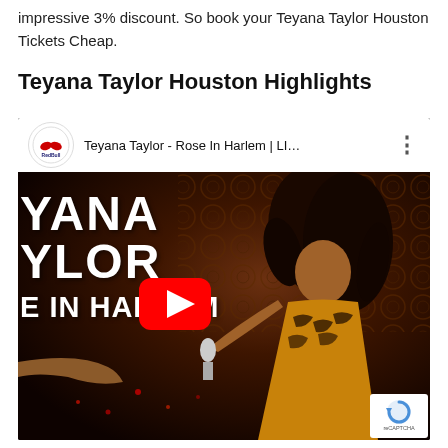impressive 3% discount. So book your Teyana Taylor Houston Tickets Cheap.
Teyana Taylor Houston Highlights
[Figure (screenshot): Embedded YouTube video thumbnail showing Teyana Taylor - Rose In Harlem concert video from Red Bull channel. The thumbnail shows a performer in a tiger-stripe jacket holding a microphone on a dark stage with text 'YANA TAYLOR E IN HARLEM' overlaid. A red YouTube play button is visible in the center.]